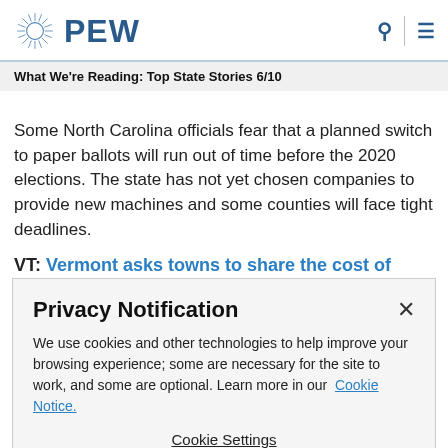PEW
What We're Reading: Top State Stories 6/10
Some North Carolina officials fear that a planned switch to paper ballots will run out of time before the 2020 elections. The state has not yet chosen companies to provide new machines and some counties will face tight deadlines.
VT: Vermont asks towns to share the cost of rural
Privacy Notification
We use cookies and other technologies to help improve your browsing experience; some are necessary for the site to work, and some are optional. Learn more in our Cookie Notice.
Cookie Settings